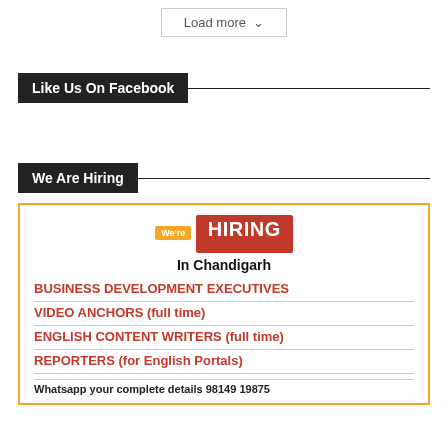Load more ˅
Like Us On Facebook
We Are Hiring
[Figure (infographic): We're Hiring advertisement for Chandigarh. Lists: Business Development Executives, Video Anchors (full time), English Content Writers (full time), Reporters (for English Portals). Contact: Whatsapp your complete details 98149 19875]
Whatsapp your complete details 98149 19875